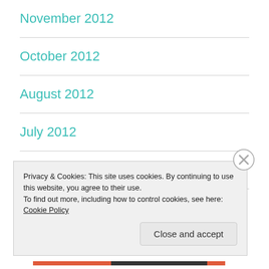November 2012
October 2012
August 2012
July 2012
May 2012
April 2012
Privacy & Cookies: This site uses cookies. By continuing to use this website, you agree to their use.
To find out more, including how to control cookies, see here: Cookie Policy
Close and accept